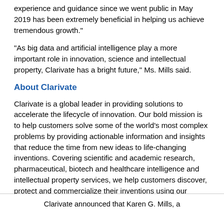experience and guidance since we went public in May 2019 has been extremely beneficial in helping us achieve tremendous growth."
"As big data and artificial intelligence play a more important role in innovation, science and intellectual property, Clarivate has a bright future," Ms. Mills said.
About Clarivate
Clarivate is a global leader in providing solutions to accelerate the lifecycle of innovation. Our bold mission is to help customers solve some of the world's most complex problems by providing actionable information and insights that reduce the time from new ideas to life-changing inventions. Covering scientific and academic research, pharmaceutical, biotech and healthcare intelligence and intellectual property services, we help customers discover, protect and commercialize their inventions using our trusted subscription and technology-based solutions coupled with deep domain expertise. For more information, please visit clarivate.com.
Clarivate announced that Karen G. Mills, a